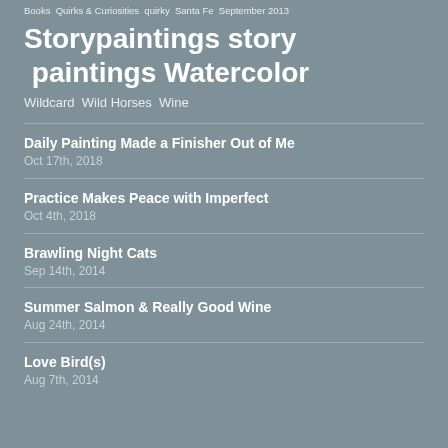Books  Quirks & Curiosities  quirky  Santa Fe  September 2013
Storypaintings  story  paintings  Watercolor
Wildcard  Wild Horses  Wine
Daily Painting Made a Finisher Out of Me
Oct 17th, 2018
Practice Makes Peace with Imperfect
Oct 4th, 2018
Brawling Night Cats
Sep 14th, 2014
Summer Salmon & Really Good Wine
Aug 24th, 2014
Love Bird(s)
Aug 7th, 2014